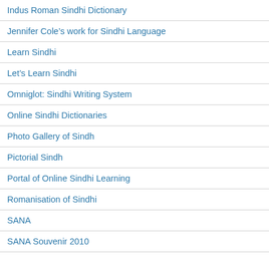Indus Roman Sindhi Dictionary
Jennifer Cole's work for Sindhi Language
Learn Sindhi
Let's Learn Sindhi
Omniglot: Sindhi Writing System
Online Sindhi Dictionaries
Photo Gallery of Sindh
Pictorial Sindh
Portal of Online Sindhi Learning
Romanisation of Sindhi
SANA
SANA Souvenir 2010